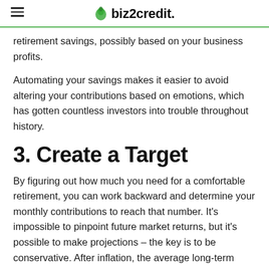biz2credit
retirement savings, possibly based on your business profits.
Automating your savings makes it easier to avoid altering your contributions based on emotions, which has gotten countless investors into trouble throughout history.
3. Create a Target
By figuring out how much you need for a comfortable retirement, you can work backward and determine your monthly contributions to reach that number. It's impossible to pinpoint future market returns, but it's possible to make projections – the key is to be conservative. After inflation, the average long-term stock market return is around 7-8%. While it's possible to keep small returns short foli-